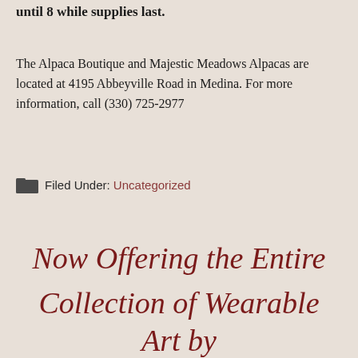until 8 while supplies last.
The Alpaca Boutique and Majestic Meadows Alpacas are located at 4195 Abbeyville Road in Medina. For more information, call (330) 725-2977
Filed Under: Uncategorized
Now Offering the Entire Collection of Wearable Art by Nicolosi